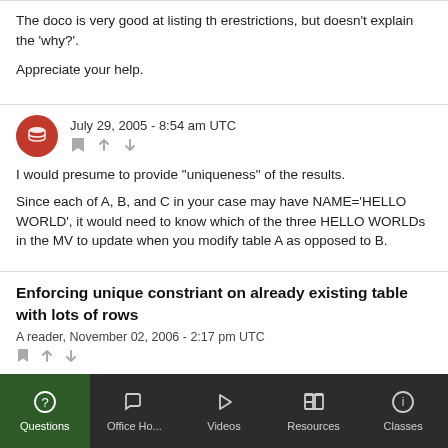The doco is very good at listing th erestrictions, but doesn't explain the 'why?'.

Appreciate your help.
July 29, 2005 - 8:54 am UTC
I would presume to provide "uniqueness" of the results.

Since each of A, B, and C in your case may have NAME='HELLO WORLD', it would need to know which of the three HELLO WORLDs in the MV to update when you modify table A as opposed to B.
Enforcing unique constriant on already existing table with lots of rows
A reader, November 02, 2006 - 2:17 pm UTC
Questions | Office Ho... | Videos | Resources | Classes